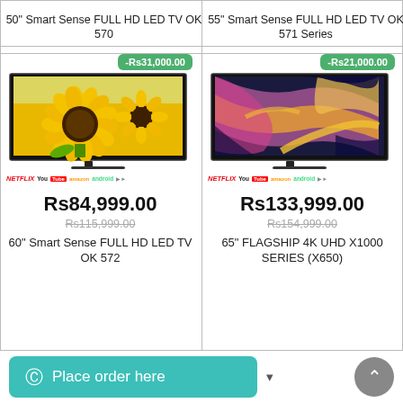50" Smart Sense FULL HD LED TV OK 570
55" Smart Sense FULL HD LED TV OK 571 Series
[Figure (photo): TV displaying sunflowers image with discount badge -Rs31,000.00]
[Figure (photo): TV displaying abstract colorful marble image with discount badge -Rs21,000.00]
Rs84,999.00
Rs115,999.00
60" Smart Sense FULL HD LED TV OK 572
Rs133,999.00
Rs154,999.00
65" FLAGSHIP 4K UHD X1000 SERIES (X650)
Place order here